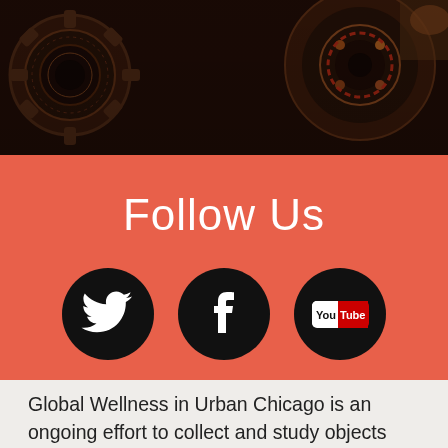[Figure (photo): Dark background photo showing decorative mechanical or ornamental objects, gears or medallions with intricate patterns in dark browns and reds]
Follow Us
[Figure (infographic): Three social media icons on black circular backgrounds: Twitter bird logo, Facebook 'f' logo, and YouTube logo]
Global Wellness in Urban Chicago is an ongoing effort to collect and study objects related to food, culture, and well-being in Chicago. It is not intended as medical advice...